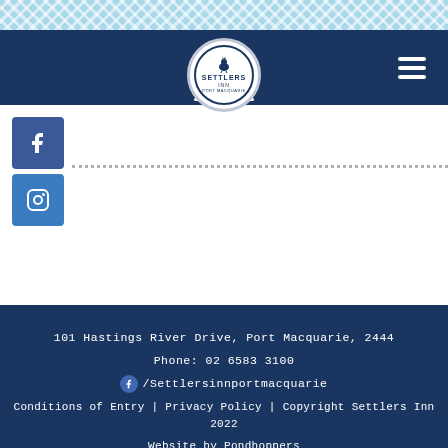[Figure (logo): Settlers Inn logo in circular badge with navy text on white background, centered in navy header bar with hamburger menu icon on right]
[Figure (illustration): Facebook square icon (blue) and Instagram square icon (steel blue), stacked vertically on left side of white content area, with dotted horizontal separator line]
101 Hastings River Drive, Port Macquarie, 2444
Phone: 02 6583 3100
/Settlersinnportmacquarie
Conditions of Entry | Privacy Policy | Copyright Settlers Inn 2022
Website by Pondhoppers